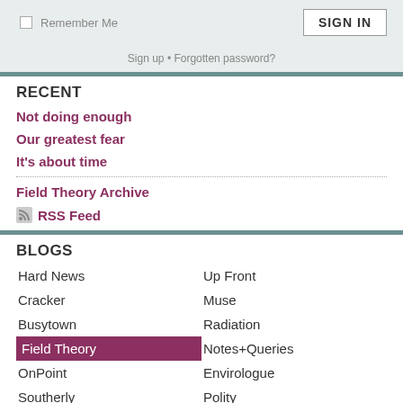Remember Me | SIGN IN
Sign up • Forgotten password?
RECENT
Not doing enough
Our greatest fear
It's about time
Field Theory Archive
RSS Feed
BLOGS
Hard News
Up Front
Cracker
Muse
Busytown
Radiation
Field Theory
Notes+Queries
OnPoint
Envirologue
Southerly
Polity
Legal Beagle
Speaker
Capture
Food
Access